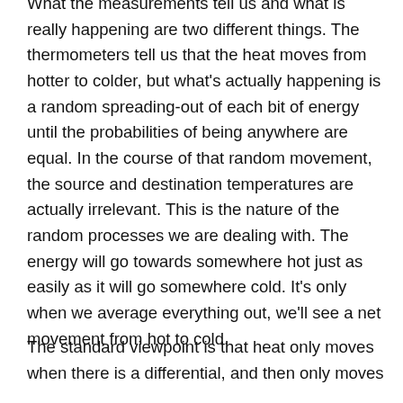What the measurements tell us and what is really happening are two different things. The thermometers tell us that the heat moves from hotter to colder, but what's actually happening is a random spreading-out of each bit of energy until the probabilities of being anywhere are equal. In the course of that random movement, the source and destination temperatures are actually irrelevant. This is the nature of the random processes we are dealing with. The energy will go towards somewhere hot just as easily as it will go somewhere cold. It's only when we average everything out, we'll see a net movement from hot to cold.
The standard viewpoint is that heat only moves when there is a differential, and then only moves